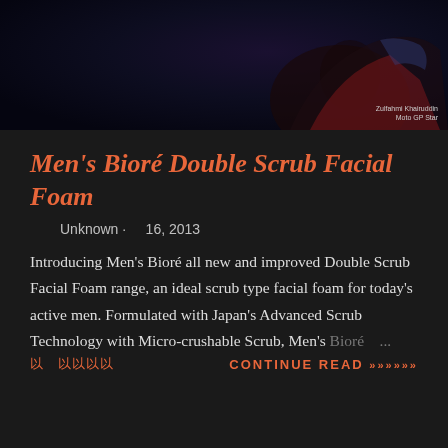[Figure (photo): Banner image with 'DOUBLE SCRUB' text and a person in racing gear (Zulfahmi Khairuddin), dark blue background]
Men's Bioré Double Scrub Facial Foam
Unknown · 16, 2013
Introducing Men's Bioré all new and improved Double Scrub Facial Foam range, an ideal scrub type facial foam for today's active men. Formulated with Japan's Advanced Scrub Technology with Micro-crushable Scrub, Men's Bioré ...
以 以以以      CONTINUE READ »»»»»»